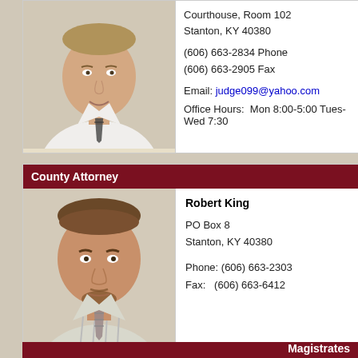Courthouse, Room 102
Stanton, KY 40380

(606) 663-2834 Phone
(606) 663-2905 Fax

Email: judge099@yahoo.com

Office Hours: Mon 8:00-5:00 Tues-Wed 7:30
[Figure (photo): Portrait photo of man in white shirt with striped tie, smiling]
County Attorney
[Figure (photo): Portrait photo of Robert King in striped shirt with patterned tie]
Robert King

PO Box 8
Stanton, KY 40380

Phone: (606) 663-2303
Fax:   (606) 663-6412
Magistrates